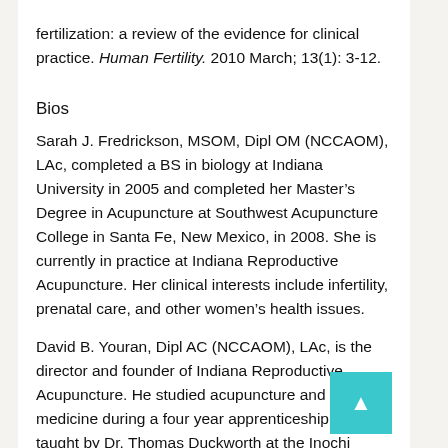fertilization: a review of the evidence for clinical practice. Human Fertility. 2010 March; 13(1): 3-12.
Bios
Sarah J. Fredrickson, MSOM, Dipl OM (NCCAOM), LAc, completed a BS in biology at Indiana University in 2005 and completed her Master’s Degree in Acupuncture at Southwest Acupuncture College in Santa Fe, New Mexico, in 2008. She is currently in practice at Indiana Reproductive Acupuncture. Her clinical interests include infertility, prenatal care, and other women’s health issues.
David B. Youran, Dipl AC (NCCAOM), LAc, is the director and founder of Indiana Reproductive Acupuncture. He studied acupuncture and Oriental medicine during a four year apprenticeship program taught by Dr. Thomas Duckworth at the Inochi Institute in St. Louis, Missouri. He is the first acupuncturist in Indiana to specialize solely in